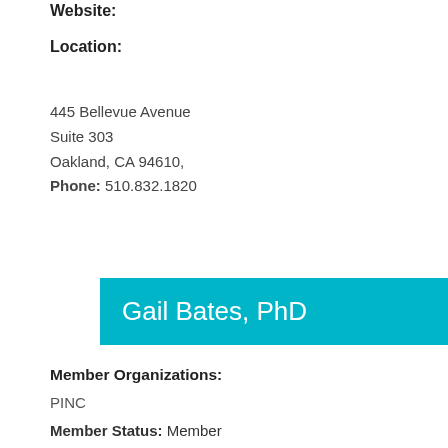Website:
Location:
445 Bellevue Avenue
Suite 303
Oakland, CA 94610,
Phone: 510.832.1820
Gail Bates, PhD
Member Organizations:
PINC
Member Status: Member